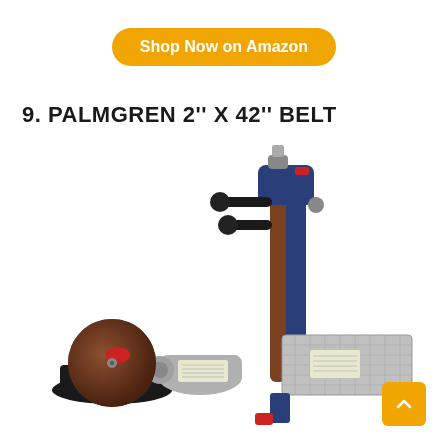Shop Now on Amazon
9. PALMGREN 2" X 42" BELT
[Figure (photo): Palmgren 2" x 42" belt and disc sander machine with blue metal body, brown abrasive belt on vertical arm, disc sander on the left, and a flat metal work table, shown on white background.]